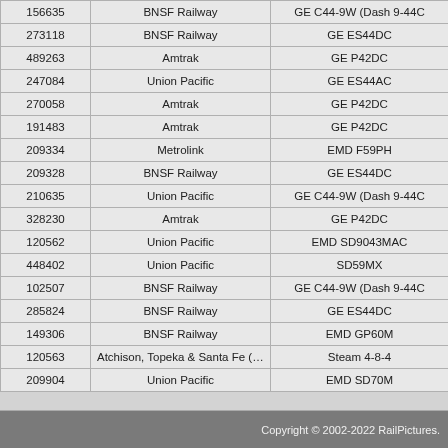| ID | Railroad | Locomotive Type |
| --- | --- | --- |
| 156635 | BNSF Railway | GE C44-9W (Dash 9-44C |
| 273118 | BNSF Railway | GE ES44DC |
| 489263 | Amtrak | GE P42DC |
| 247084 | Union Pacific | GE ES44AC |
| 270058 | Amtrak | GE P42DC |
| 191483 | Amtrak | GE P42DC |
| 209334 | Metrolink | EMD F59PH |
| 209328 | BNSF Railway | GE ES44DC |
| 210635 | Union Pacific | GE C44-9W (Dash 9-44C |
| 328230 | Amtrak | GE P42DC |
| 120562 | Union Pacific | EMD SD9043MAC |
| 448402 | Union Pacific | SD59MX |
| 102507 | BNSF Railway | GE C44-9W (Dash 9-44C |
| 285824 | BNSF Railway | GE ES44DC |
| 149306 | BNSF Railway | EMD GP60M |
| 120563 | Atchison, Topeka & Santa Fe (ATSF) | Steam 4-8-4 |
| 209904 | Union Pacific | EMD SD70M |
Copyright © 2002-2022 RailPictures.